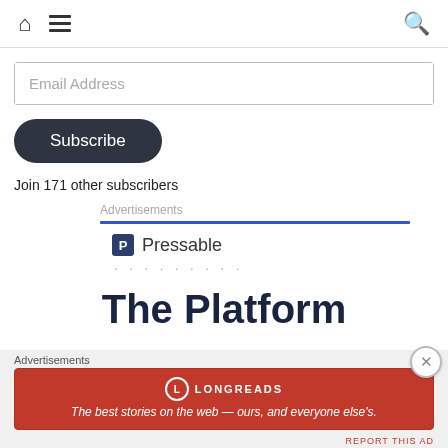Home | Menu | Search
Email Address
Subscribe
Join 171 other subscribers
Advertisements
[Figure (logo): Pressable logo with blue P icon and dotted line]
The Platform
Advertisements
[Figure (infographic): Longreads red advertisement banner: The best stories on the web — ours, and everyone else's.]